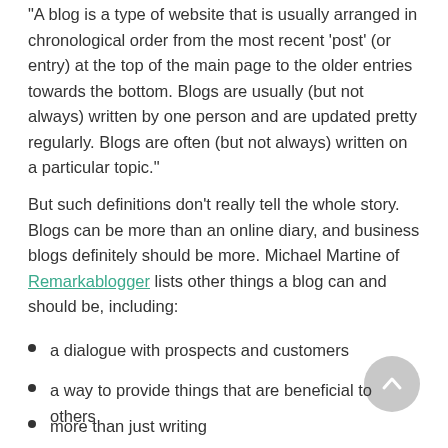“A blog is a type of website that is usually arranged in chronological order from the most recent ‘post’ (or entry) at the top of the main page to the older entries towards the bottom. Blogs are usually (but not always) written by one person and are updated pretty regularly. Blogs are often (but not always) written on a particular topic.”
But such definitions don’t really tell the whole story. Blogs can be more than an online diary, and business blogs definitely should be more. Michael Martine of Remarkablogger lists other things a blog can and should be, including:
a dialogue with prospects and customers
a way to provide things that are beneficial to others
more than just writing
a place to write authentically